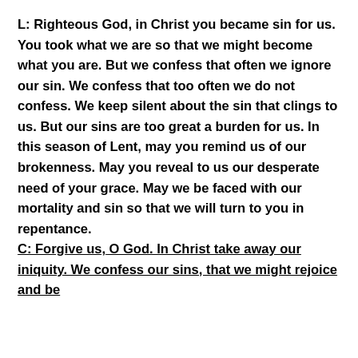L: Righteous God, in Christ you became sin for us. You took what we are so that we might become what you are. But we confess that often we ignore our sin. We confess that too often we do not confess. We keep silent about the sin that clings to us. But our sins are too great a burden for us. In this season of Lent, may you remind us of our brokenness. May you reveal to us our desperate need of your grace. May we be faced with our mortality and sin so that we will turn to you in repentance.
C: Forgive us, O God. In Christ take away our iniquity. We confess our sins, that we might rejoice and be